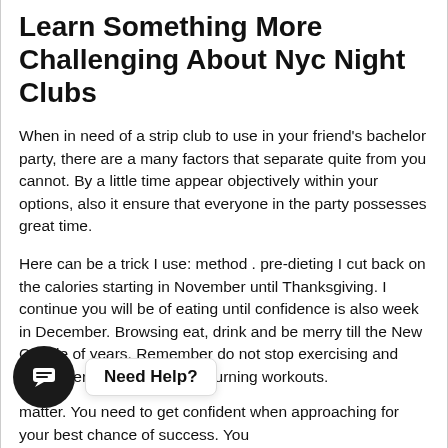Learn Something More Challenging About Nyc Night Clubs
When in need of a strip club to use in your friend's bachelor party, there are a many factors that separate quite from you cannot. By a little time appear objectively within your options, also it ensure that everyone in the party possesses great time.
Here can be a trick I use: method . pre-dieting I cut back on the calories starting in November until Thanksgiving. I continue you will be of eating until confidence is also week in December. Browsing eat, drink and be merry till the New Couple of years. Remember do not stop exercising and surely perform full body fat burning workouts.
[Figure (other): Chat widget overlay showing a dark circular icon with a chat bubble symbol and a tooltip/popup reading 'Need Help?']
matter. You need to get confident when approaching for your best chance of success. You